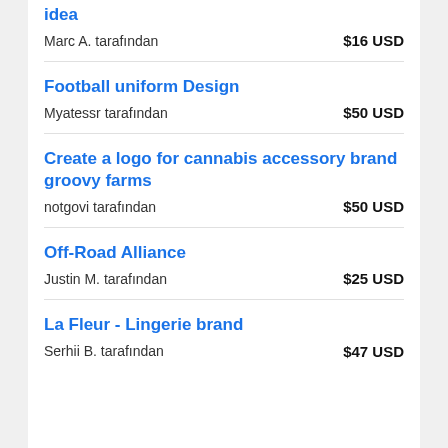idea — Marc A. tarafından — $16 USD
Football uniform Design — Myatessr tarafından — $50 USD
Create a logo for cannabis accessory brand groovy farms — notgovi tarafından — $50 USD
Off-Road Alliance — Justin M. tarafından — $25 USD
La Fleur - Lingerie brand — Serhii B. tarafından — $47 USD